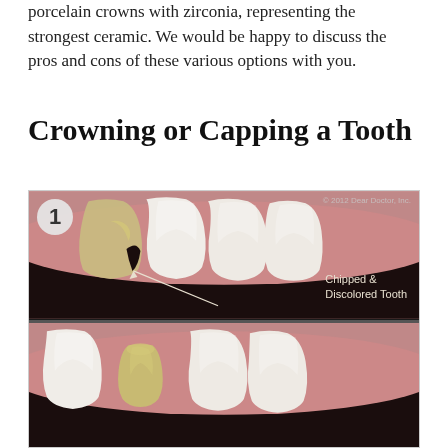porcelain crowns with zirconia, representing the strongest ceramic. We would be happy to discuss the pros and cons of these various options with you.
Crowning or Capping a Tooth
[Figure (illustration): A three-panel dental illustration showing the process of crowning or capping a tooth. Panel 1 (labeled with circle '1') shows a chipped and discolored front tooth with an arrow and label 'Chipped & Discolored Tooth'. Panel 2 (labeled with circle '2') shows the prepared tooth stub after the outer portion has been removed, revealing a small tapered core. Panel 3 (partially visible, labeled with circle '3') shows the final crown being placed. Copyright 2012 Dear Doctor, Inc.]